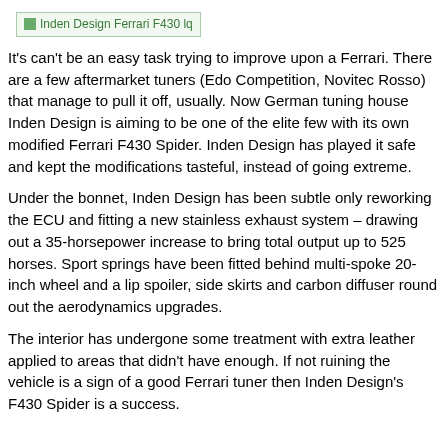[Figure (screenshot): Thumbnail image placeholder reading 'Inden Design Ferrari F430 lq']
It's can't be an easy task trying to improve upon a Ferrari. There are a few aftermarket tuners (Edo Competition, Novitec Rosso) that manage to pull it off, usually. Now German tuning house Inden Design is aiming to be one of the elite few with its own modified Ferrari F430 Spider. Inden Design has played it safe and kept the modifications tasteful, instead of going extreme.
Under the bonnet, Inden Design has been subtle only reworking the ECU and fitting a new stainless exhaust system – drawing out a 35-horsepower increase to bring total output up to 525 horses. Sport springs have been fitted behind multi-spoke 20-inch wheel and a lip spoiler, side skirts and carbon diffuser round out the aerodynamics upgrades.
The interior has undergone some treatment with extra leather applied to areas that didn't have enough. If not ruining the vehicle is a sign of a good Ferrari tuner then Inden Design's F430 Spider is a success.